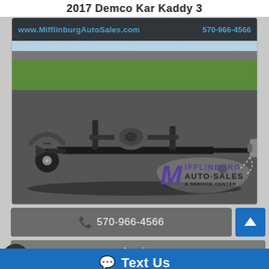2017 Demco Kar Kaddy 3
[Figure (photo): Photo of a 2017 Demco Kar Kaddy 3 tow dolly on a paved surface with grass in the background. Watermark bar at top shows www.MifflinburgAutoSales.com and 570-966-4566. Mifflinburg Auto Sales & Service Center logo in bottom right corner.]
570-966-4566
Inquiry
Text Us